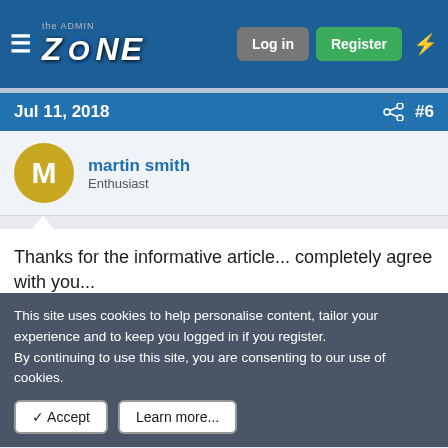the ADMIN ZONE | Log in | Register
Jul 11, 2018  #6
martin smith
Enthusiast
Thanks for the informative article... completely agree with you...
Jul 13, 2018  #7
Taren
This site uses cookies to help personalise content, tailor your experience and to keep you logged in if you register.
By continuing to use this site, you are consenting to our use of cookies.